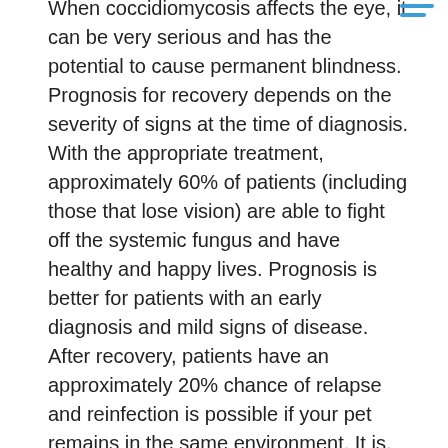When coccidiomycosis affects the eye, it can be very serious and has the potential to cause permanent blindness. Prognosis for recovery depends on the severity of signs at the time of diagnosis. With the appropriate treatment, approximately 60% of patients (including those that lose vision) are able to fight off the systemic fungus and have healthy and happy lives. Prognosis is better for patients with an early diagnosis and mild signs of disease. After recovery, patients have an approximately 20% chance of relapse and reinfection is possible if your pet remains in the same environment. It is, therefore, very important to monitor your pet for any of the above clinical signs and to call your veterinarian as soon as possible if you notice any of them.
Prevention
Unfortunately, there are no vaccinations available